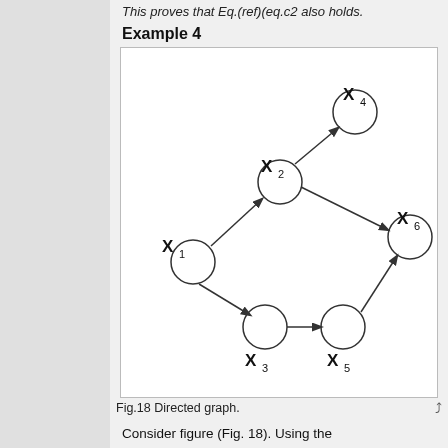This proves that Eq.(ref)(eq.c2 also holds.
Example 4
[Figure (network-graph): Directed graph with 6 nodes X1 through X6. Edges: X1->X2, X2->X4, X2->X6, X1->X3, X3->X5, X5->X6.]
Fig.18 Directed graph.
Consider figure (Fig. 18). Using the Bayes Ball Algorithm we wish to